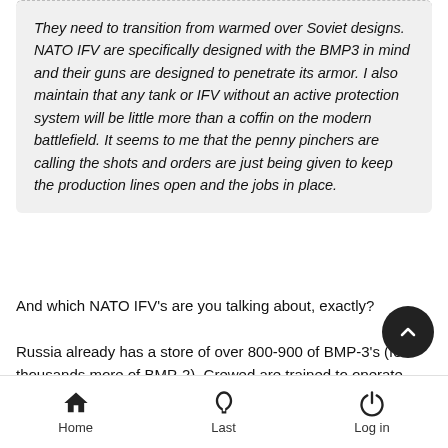They need to transition from warmed over Soviet designs. NATO IFV are specifically designed with the BMP3 in mind and their guns are designed to penetrate its armor. I also maintain that any tank or IFV without an active protection system will be little more than a coffin on the modern battlefield. It seems to me that the penny pinchers are calling the shots and orders are just being given to keep the production lines open and the jobs in place.
And which NATO IFV's are you talking about, exactly?
Russia already has a store of over 800-900 of BMP-3's (few thousands more of BMP-2). Crewed are trained to operate them and they are in active service for quite a long while now. The kinks and problems, in addition to the limitations of the vehicles are well known. Operators abundant.
Home   Last   Log in